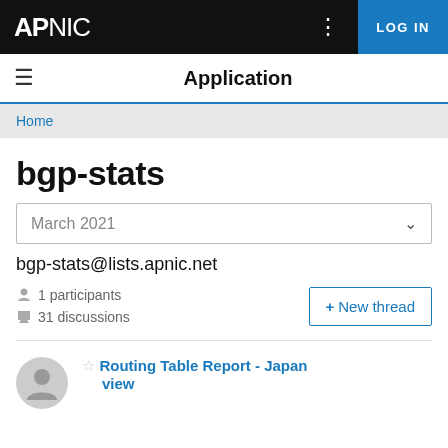APNIC | LOG IN | Application
Home
bgp-stats
March 2021
bgp-stats@lists.apnic.net
1 participants
31 discussions
+ New thread
Routing Table Report - Japan view